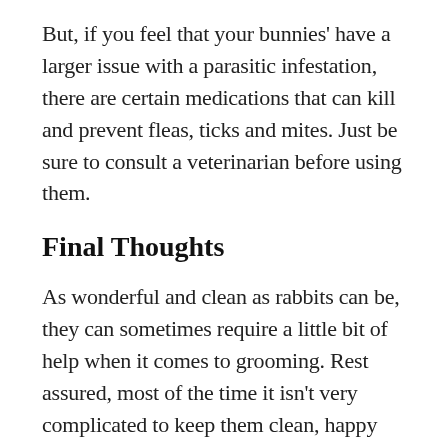But, if you feel that your bunnies' have a larger issue with a parasitic infestation, there are certain medications that can kill and prevent fleas, ticks and mites. Just be sure to consult a veterinarian before using them.
Final Thoughts
As wonderful and clean as rabbits can be, they can sometimes require a little bit of help when it comes to grooming. Rest assured, most of the time it isn't very complicated to keep them clean, happy and healthy.
Simply paying attention to their fur, nails, teeth and ears on a regular basis will help to keep your bunnies happy and healthy. Lastly, regular